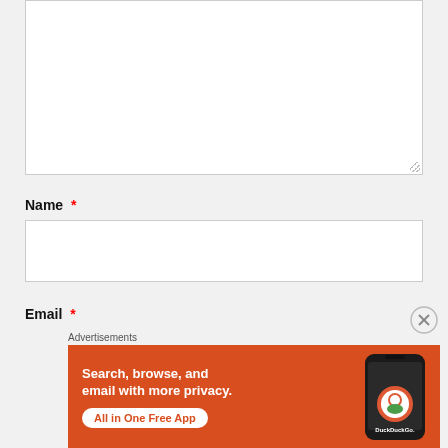[Figure (screenshot): Empty textarea form field with resize handle in bottom-right corner]
Name *
[Figure (screenshot): Empty text input field for Name]
Email *
[Figure (screenshot): DuckDuckGo advertisement banner with text 'Search, browse, and email with more privacy. All in One Free App' on orange background with phone image and DuckDuckGo logo]